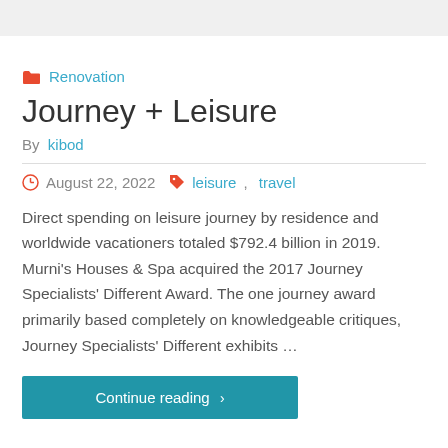Renovation
Journey + Leisure
By kibod
August 22, 2022   leisure, travel
Direct spending on leisure journey by residence and worldwide vacationers totaled $792.4 billion in 2019. Murni's Houses & Spa acquired the 2017 Journey Specialists' Different Award. The one journey award primarily based completely on knowledgeable critiques, Journey Specialists' Different exhibits …
Continue reading